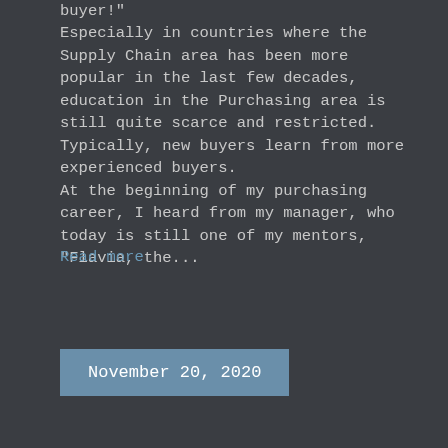buyer!"
Especially in countries where the Supply Chain area has been more popular in the last few decades, education in the Purchasing area is still quite scarce and restricted. Typically, new buyers learn from more experienced buyers.
At the beginning of my purchasing career, I heard from my manager, who today is still one of my mentors, “Flavia, the...
Read more
November 20, 2020